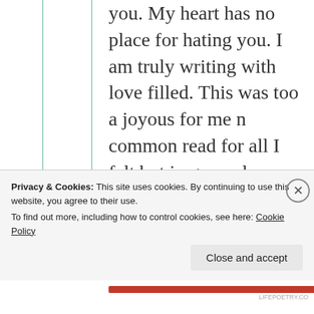you. My heart has no place for hating you. I am truly writing with love filled. This was too a joyous for me n common read for all I felt but in general though man's love is too much but they express in simple ways than the woman was the Message I mentioned. No
Privacy & Cookies: This site uses cookies. By continuing to use this website, you agree to their use. To find out more, including how to control cookies, see here: Cookie Policy
Close and accept